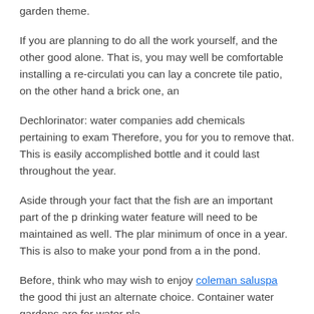garden theme.
If you are planning to do all the work yourself, and the other good alone. That is, you may well be comfortable installing a re-circulati you can lay a concrete tile patio, on the other hand a brick one, an
Dechlorinator: water companies add chemicals pertaining to exam Therefore, you for you to remove that. This is easily accomplished bottle and it could last throughout the year.
Aside through your fact that the fish are an important part of the p drinking water feature will need to be maintained as well. The plar minimum of once in a year. This is also to make your pond from a in the pond.
Before, think who may wish to enjoy coleman saluspa the good thi just an alternate choice. Container water gardens are for water pla
You can also need Koi food which can available a maximum of pon whenever pests are not them healthy while enhancing their colors occupation the top to feed.